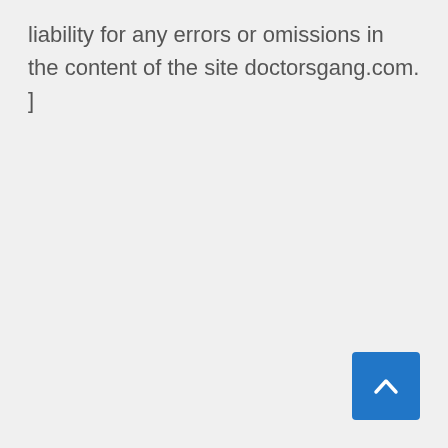liability for any errors or omissions in the content of the site doctorsgang.com. ]
[Figure (other): Blue square button with a white upward-pointing chevron arrow, used as a back-to-top navigation button]